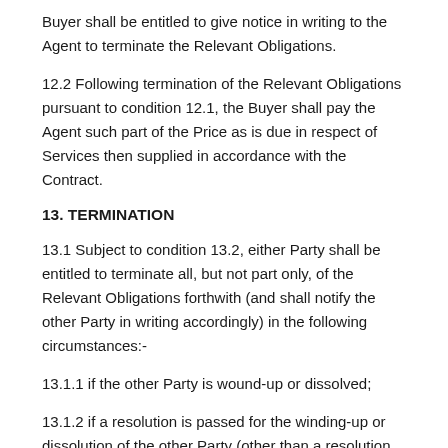Buyer shall be entitled to give notice in writing to the Agent to terminate the Relevant Obligations.
12.2 Following termination of the Relevant Obligations pursuant to condition 12.1, the Buyer shall pay the Agent such part of the Price as is due in respect of Services then supplied in accordance with the Contract.
13. TERMINATION
13.1 Subject to condition 13.2, either Party shall be entitled to terminate all, but not part only, of the Relevant Obligations forthwith (and shall notify the other Party in writing accordingly) in the following circumstances:-
13.1.1 if the other Party is wound-up or dissolved;
13.1.2 if a resolution is passed for the winding-up or dissolution of the other Party (other than a resolution